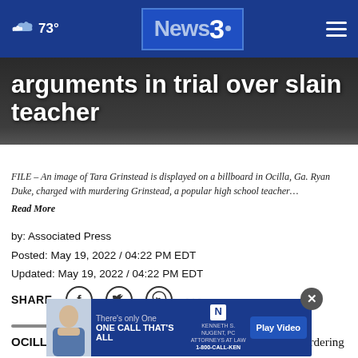73° News3 [navigation header]
arguments in trial over slain teacher
FILE – An image of Tara Grinstead is displayed on a billboard in Ocilla, Ga. Ryan Duke, charged with murdering Grinstead, a popular high school teacher… Read More
by: Associated Press
Posted: May 19, 2022 / 04:22 PM EDT
Updated: May 19, 2022 / 04:22 PM EDT
SHARE [Facebook] [Twitter] [WhatsApp] [more]
OCILLA … ied in the trial of a Georgia man charged with murdering a